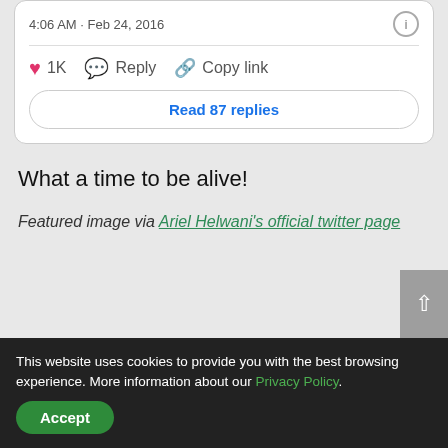4:06 AM · Feb 24, 2016
1K   Reply   Copy link
Read 87 replies
What a time to be alive!
Featured image via Ariel Helwani's official twitter page
This website uses cookies to provide you with the best browsing experience. More information about our Privacy Policy.
Accept